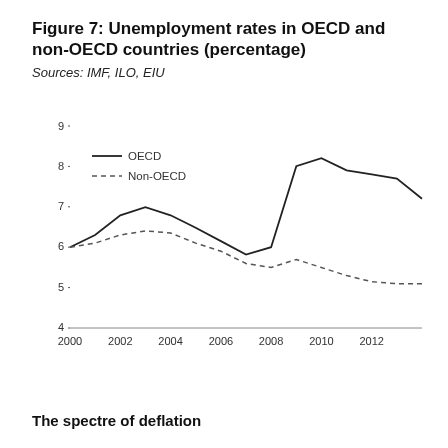Figure 7: Unemployment rates in OECD and non-OECD countries (percentage)
Sources: IMF, ILO, EIU
[Figure (line-chart): Unemployment rates in OECD and non-OECD countries (percentage)]
The spectre of deflation